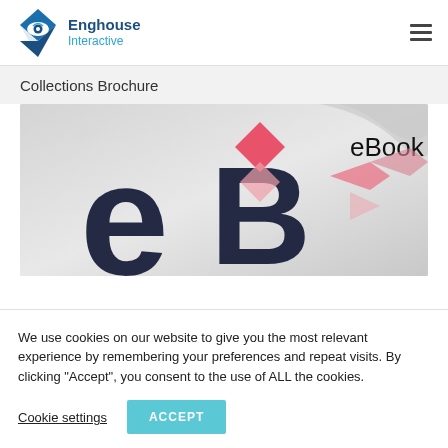Enghouse Interactive
Collections Brochure
[Figure (illustration): eBook cover image showing stylized 'eB' letters in dark navy with pink/salmon geometric diamond shapes overlaid, on a light grey gradient background. The word 'eBook' appears in the upper right area.]
We use cookies on our website to give you the most relevant experience by remembering your preferences and repeat visits. By clicking “Accept”, you consent to the use of ALL the cookies.
Cookie settings   ACCEPT